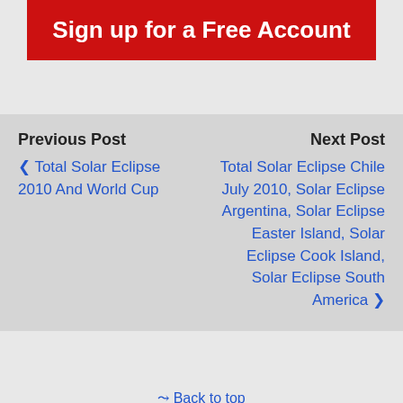Sign up for a Free Account
Previous Post
Next Post
‹ Total Solar Eclipse 2010 And World Cup
Total Solar Eclipse Chile July 2010, Solar Eclipse Argentina, Solar Eclipse Easter Island, Solar Eclipse Cook Island, Solar Eclipse South America ›
☆ Back to top
Mobile
Desktop
Translate »